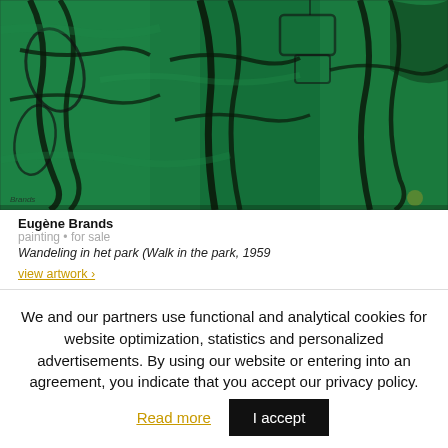[Figure (illustration): Abstract expressionist painting in deep greens and blacks, showing angular organic forms that suggest figures or trees in a park. Signed in lower left corner. Title: Wandeling in het park (Walk in the park).]
Eugène Brands
painting • for sale
Wandeling in het park (Walk in the park, 1959
view artwork ›
We and our partners use functional and analytical cookies for website optimization, statistics and personalized advertisements. By using our website or entering into an agreement, you indicate that you accept our privacy policy.
Read more
I accept